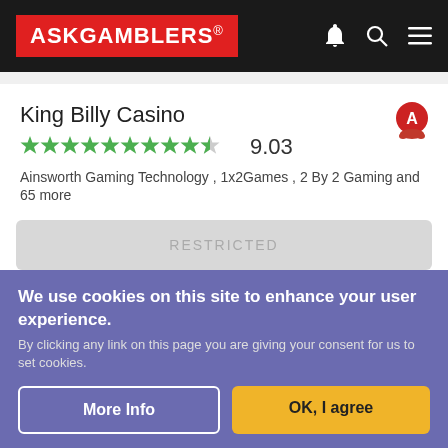ASKGAMBLERS
King Billy Casino
9.03
Ainsworth Gaming Technology , 1x2Games , 2 By 2 Gaming and 65 more
RESTRICTED
iWild Casino
8.98
We use cookies on this site to enhance your user experience.
By clicking any link on this page you are giving your consent for us to set cookies.
More Info
OK, I agree